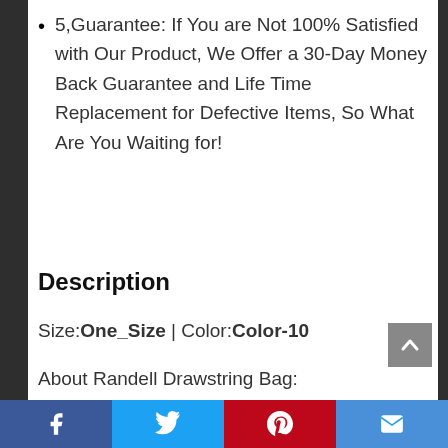5,Guarantee: If You are Not 100% Satisfied with Our Product, We Offer a 30-Day Money Back Guarantee and Life Time Replacement for Defective Items, So What Are You Waiting for!
Description
Size:One_Size | Color:Color-10
About Randell Drawstring Bag:
Facebook | Twitter | Pinterest | Email